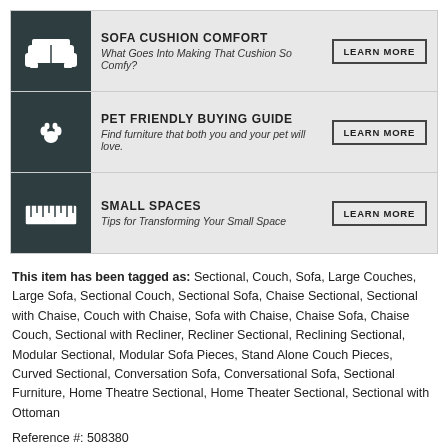[Figure (infographic): Three banner rows on dark grey background. Row 1: sofa/couch icon, 'SOFA CUSHION COMFORT' title, subtitle 'What Goes Into Making That Cushion So Comfy?', LEARN MORE button. Row 2: paw print icon, 'PET FRIENDLY BUYING GUIDE' title, subtitle 'Find furniture that both you and your pet will love.', LEARN MORE button. Row 3: ruler/tape measure icon, 'SMALL SPACES' title, subtitle 'Tips for Transforming Your Small Space', LEARN MORE button.]
This item has been tagged as: Sectional, Couch, Sofa, Large Couches, Large Sofa, Sectional Couch, Sectional Sofa, Chaise Sectional, Sectional with Chaise, Couch with Chaise, Sofa with Chaise, Chaise Sofa, Chaise Couch, Sectional with Recliner, Recliner Sectional, Reclining Sectional, Modular Sectional, Modular Sofa Pieces, Stand Alone Couch Pieces, Curved Sectional, Conversation Sofa, Conversational Sofa, Sectional Furniture, Home Theatre Sectional, Home Theater Sectional, Sectional with Ottoman
Reference #: 508380
Sponsored Links
Shop